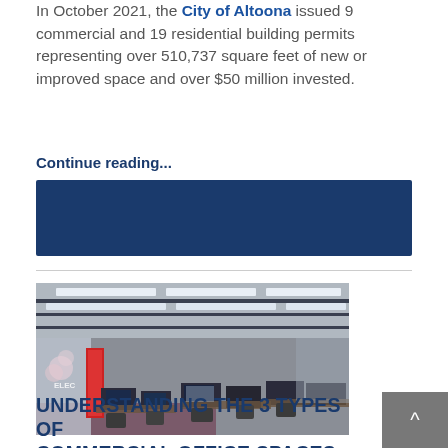In October 2021, the City of Altoona issued 9 commercial and 19 residential building permits representing over 510,737 square feet of new or improved space and over $50 million invested.
Continue reading...
[Figure (illustration): Dark navy blue banner/header bar]
[Figure (photo): Interior photograph of a modern commercial office space with open floor plan, computer workstations, overhead fluorescent lighting, glass partitions, and a red accent element on the left side]
UNDERSTANDING THE 3 TYPES OF COMMERCIAL OFFICE SPACES